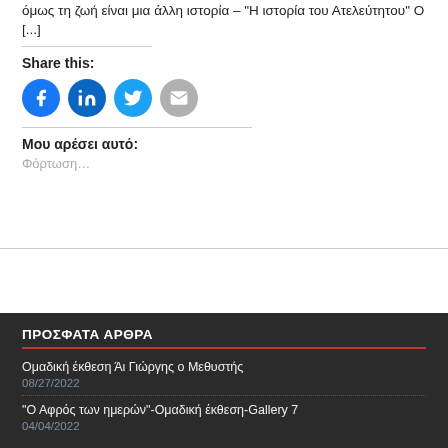όμως τη ζωή είναι μια άλλη ιστορία – 'Η ιστορία του Ατελεύτητου' Ο [...]
Share this:
[Figure (infographic): Four social share buttons as circles: Facebook (blue), LinkedIn (blue), Twitter (light blue), Email (gray)]
Μου αρέσει αυτό:
Φόρτωση…
ΠΡΟΣΦΑΤΑ ΑΡΘΡΑ
Ομαδική έκθεση Άι Γιώργης ο Μεθυστής
08/27/2022
"Ο Αφρός των ημερών"-Ομαδική έκθεση-Gallery 7
04/04/2022